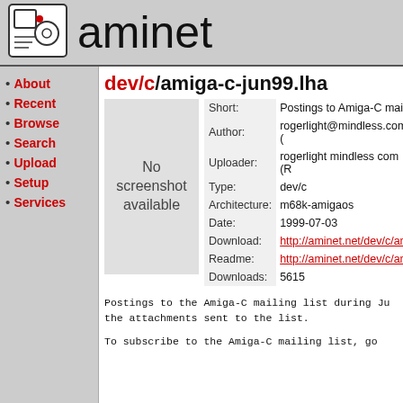[Figure (logo): Aminet logo: hand-drawn style icon with geometric shapes]
aminet
About
Recent
Browse
Search
Upload
Setup
Services
dev/c/amiga-c-jun99.lha
[Figure (other): No screenshot available placeholder box]
| Field | Value |
| --- | --- |
| Short: | Postings to Amiga-C maili... |
| Author: | rogerlight@mindless.com (… |
| Uploader: | rogerlight mindless com (R… |
| Type: | dev/c |
| Architecture: | m68k-amigaos |
| Date: | 1999-07-03 |
| Download: | http://aminet.net/dev/c/ami… |
| Readme: | http://aminet.net/dev/c/ami… |
| Downloads: | 5615 |
Postings to the Amiga-C mailing list during Ju… the attachments sent to the list.
To subscribe to the Amiga-C mailing list, go…